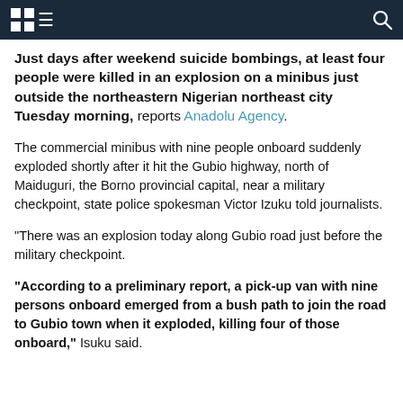[Logo/navigation bar]
Just days after weekend suicide bombings, at least four people were killed in an explosion on a minibus just outside the northeastern Nigerian northeast city Tuesday morning, reports Anadolu Agency.
The commercial minibus with nine people onboard suddenly exploded shortly after it hit the Gubio highway, north of Maiduguri, the Borno provincial capital, near a military checkpoint, state police spokesman Victor Izuku told journalists.
"There was an explosion today along Gubio road just before the military checkpoint.
"According to a preliminary report, a pick-up van with nine persons onboard emerged from a bush path to join the road to Gubio town when it exploded, killing four of those onboard," Isuku said.